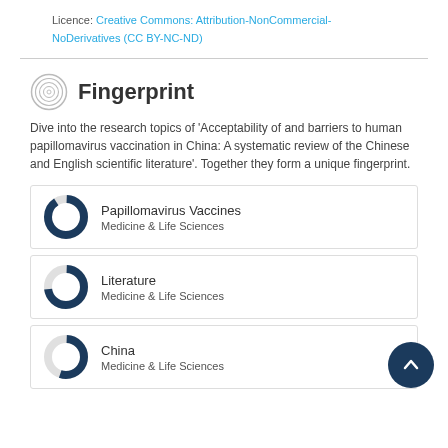Licence: Creative Commons: Attribution-NonCommercial-NoDerivatives (CC BY-NC-ND)
Fingerprint
Dive into the research topics of 'Acceptability of and barriers to human papillomavirus vaccination in China: A systematic review of the Chinese and English scientific literature'. Together they form a unique fingerprint.
Papillomavirus Vaccines
Medicine & Life Sciences
Literature
Medicine & Life Sciences
China
Medicine & Life Sciences